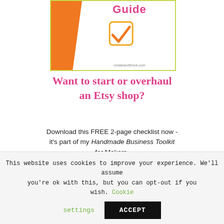[Figure (illustration): Book cover with orange diagonal bar on left, pink 'Guide' text in center top, orange checkbox icon, and a website URL at the bottom. Bordered by a yellow-green outline.]
Want to start or overhaul an Etsy shop?
Download this FREE 2-page checklist now - it's part of my Handmade Business Toolkit for Makers.
Don't make those common Etsy mistakes: make sure your Etsy shop is the best it can be!
This website uses cookies to improve your experience. We'll assume you're ok with this, but you can opt-out if you wish. Cookie settings ACCEPT